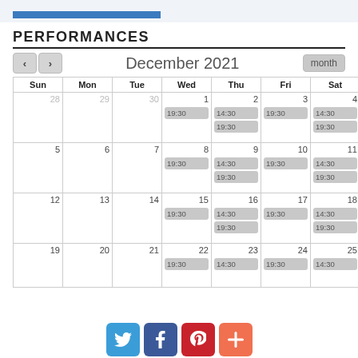PERFORMANCES
[Figure (other): December 2021 calendar showing performance times (14:30, 19:30) on Wednesday through Saturday each week]
[Figure (infographic): Social share buttons: Twitter, Facebook, Pinterest, Plus]